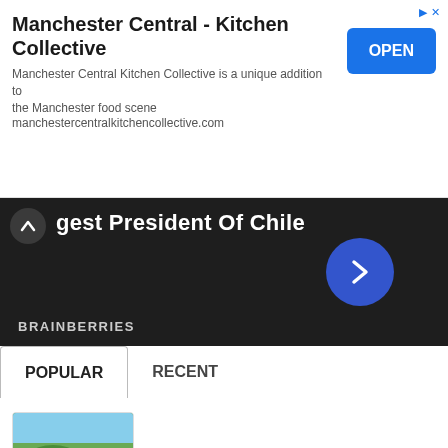[Figure (screenshot): Advertisement banner for Manchester Central - Kitchen Collective with OPEN button]
[Figure (screenshot): Brainberries dark banner showing 'gest President Of Chile' with navigation arrow]
POPULAR   RECENT
[Figure (photo): Thumbnail of green hills for Basque Spain article]
10 Things To Do in Basque: Spain
[Figure (photo): Thumbnail of Mijas town for restaurants article]
7 Restaurants to Go in Mijas: What and Where to Eat
[Figure (photo): Thumbnail of Torremolinos for 20 things article]
20 Things To Do in Torremolinos